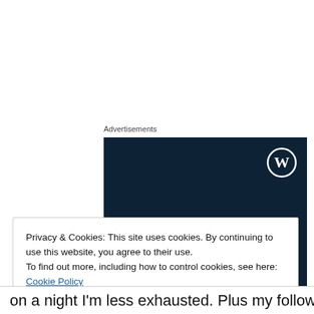Advertisements
[Figure (illustration): WordPress advertisement banner with dark navy background showing the WordPress logo (circle W) in top right corner. Text reads: 'Opinions. We all have them!' in white serif font. A partial white circle is visible at the bottom center.]
Privacy & Cookies: This site uses cookies. By continuing to use this website, you agree to their use.
To find out more, including how to control cookies, see here: Cookie Policy
Close and accept
on a night I'm less exhausted. Plus my follow-up on the